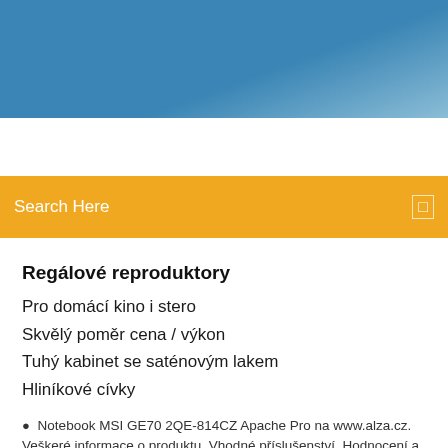[Figure (other): Blue gradient header banner at top of page]
Search Here
Regálové reproduktory
Pro domácí kino i stero
Skvělý poměr cena / výkon
Tuhý kabinet se saténovým lakem
Hliníkové cívky
Notebook MSI GE70 2QE-814CZ Apache Pro na www.alza.cz. Veškeré informace o produktu. Vhodné příslušenství. Hodnocení a recenze MSI GE70 2QE-814CZ |